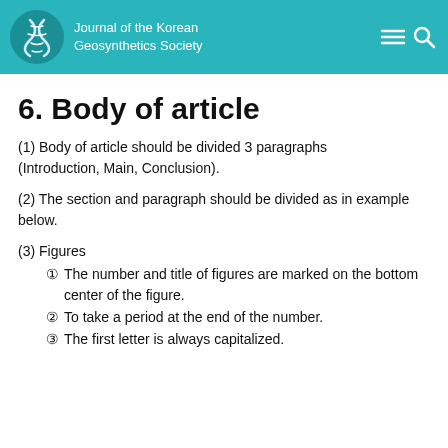Journal of the Korean Geosynthetics Society
6. Body of article
(1) Body of article should be divided 3 paragraphs (Introduction, Main, Conclusion).
(2) The section and paragraph should be divided as in example below.
(3) Figures
① The number and title of figures are marked on the bottom center of the figure.
② To take a period at the end of the number.
③ The first letter is always capitalized.